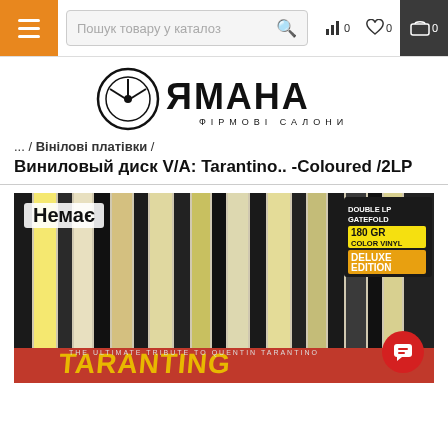Yamaha — Navigation bar with hamburger menu, search box, and cart icons
[Figure (logo): Yamaha logo with tuning fork emblem and Cyrillic text ФІРМОВІ САЛОНИ]
... / Вінілові платівки /
Виниловый диск V/A: Tarantino.. -Coloured /2LP
[Figure (photo): Product image of vinyl record album V/A: Tarantino Coloured 2LP — shows record spines with various song titles, red Tarantino branding at bottom, badges: Double LP Gatefold, 180 GR Color Vinyl, Deluxe Edition. 'Немає' (Out of stock) label in top left. Chat button in bottom right.]